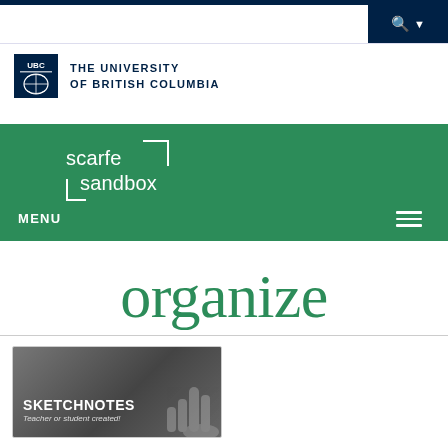[Figure (screenshot): UBC website screenshot showing the Scarfe Sandbox page with 'organize' heading and a Sketchnotes card]
THE UNIVERSITY OF BRITISH COLUMBIA
organize
[Figure (photo): Sketchnotes card image with text 'SKETCHNOTES - Teacher or student created!']